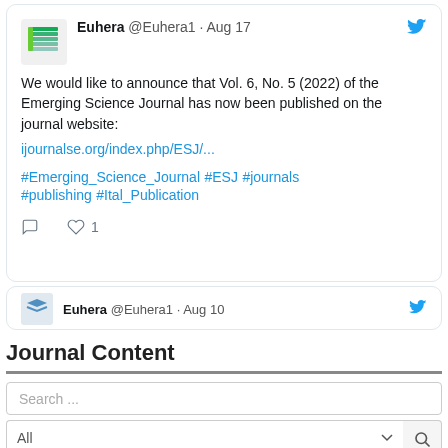[Figure (screenshot): Tweet from @Euhera1 on Aug 17 announcing Vol. 6, No. 5 (2022) of the Emerging Science Journal with a link and hashtags, showing 1 like. A second tweet from @Euhera1 on Aug 10 is partially visible below.]
Journal Content
Search ...
By Issue
By Author
By Title